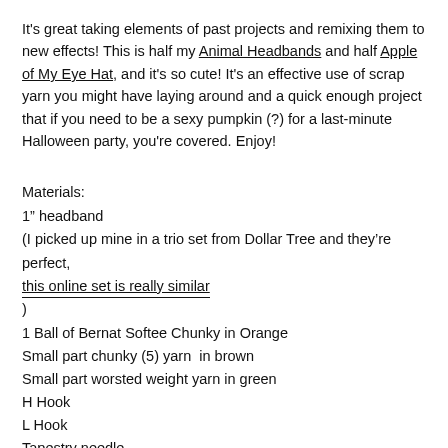It's great taking elements of past projects and remixing them to new effects! This is half my Animal Headbands and half Apple of My Eye Hat, and it's so cute! It's an effective use of scrap yarn you might have laying around and a quick enough project that if you need to be a sexy pumpkin (?) for a last-minute Halloween party, you're covered. Enjoy!
Materials:
1" headband
(I picked up mine in a trio set from Dollar Tree and they're perfect, this online set is really similar)
1 Ball of Bernat Softee Chunky in Orange
Small part chunky (5) yarn  in brown
Small part worsted weight yarn in green
H Hook
L Hook
Tapestry needle
Scissors
Terms Used (US):